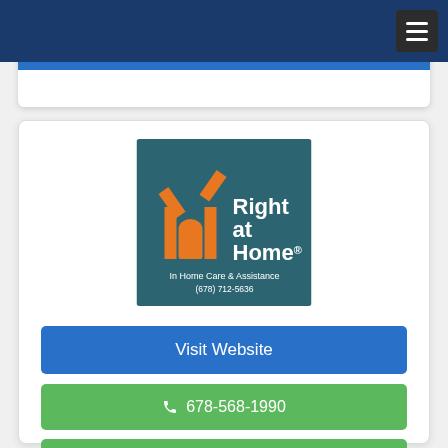[Figure (logo): Right at Home In Home Care & Assistance logo with orange house icon on teal background, phone number (678) 712-5636]
Visit Website
678-568-1990
Message